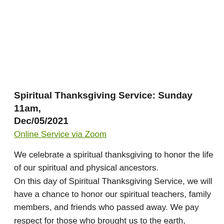Spiritual Thanksgiving Service: Sunday 11am, Dec/05/2021
Online Service via Zoom
We celebrate a spiritual thanksgiving to honor the life of our spiritual and physical ancestors.
On this day of Spiritual Thanksgiving Service, we will have a chance to honor our spiritual teachers, family members, and friends who passed away. We pay respect for those who brought us to the earth, nurtured us,